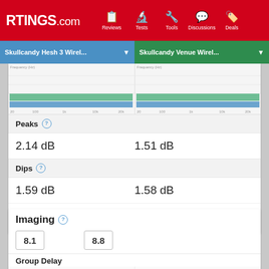RTINGS.com | Reviews | Tests | Tools | Discussions | Deals
Skullcandy Hesh 3 Wirel... ▼
Skullcandy Venue Wirel... ▼
[Figure (continuous-plot): Frequency response chart for Skullcandy Hesh 3 Wireless]
[Figure (continuous-plot): Frequency response chart for Skullcandy Venue Wireless]
Peaks
2.14 dB
1.51 dB
Dips
1.59 dB
1.58 dB
Show text ▼
Imaging
8.1
8.8
Group Delay
[Figure (continuous-plot): Group Delay chart for Skullcandy Hesh 3 Wireless]
[Figure (continuous-plot): Group Delay chart for Skullcandy Venue Wireless]